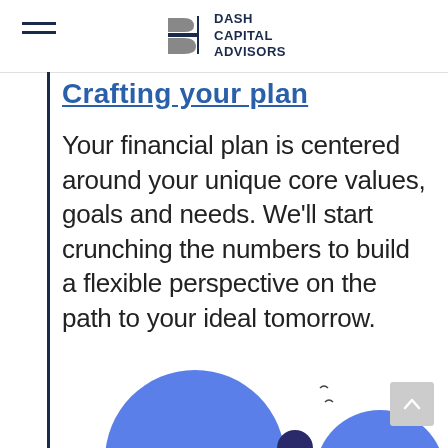DASH CAPITAL ADVISORS
Crafting your plan
Your financial plan is centered around your unique core values, goals and needs. We'll start crunching the numbers to build a flexible perspective on the path to your ideal tomorrow.
[Figure (illustration): Partial illustration showing blue circular shapes representing people/figures at the bottom of the page, suggesting a consultation or planning scenario]